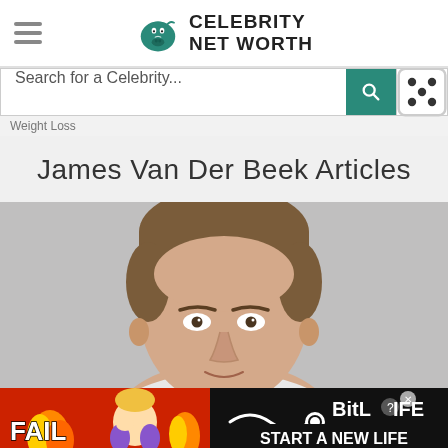Celebrity Net Worth
Search for a Celebrity...
Weight Loss
James Van Der Beek Articles
[Figure (photo): Headshot photo of James Van Der Beek, a man with short brown hair against a light background]
[Figure (screenshot): BitLife advertisement banner reading FAIL / START A NEW LIFE with cartoon character]